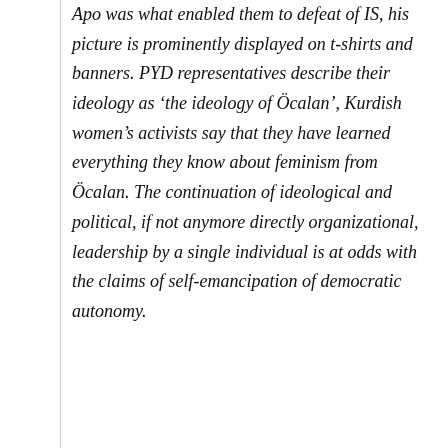Apo was what enabled them to defeat of IS, his picture is prominently displayed on t-shirts and banners. PYD representatives describe their ideology as 'the ideology of Öcalan', Kurdish women's activists say that they have learned everything they know about feminism from Öcalan. The continuation of ideological and political, if not anymore directly organizational, leadership by a single individual is at odds with the claims of self-emancipation of democratic autonomy.